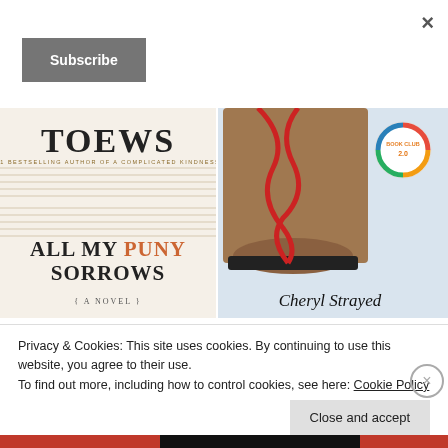×
Subscribe
[Figure (photo): Book cover: 'All My Puny Sorrows' by Toews, showing the title and author on a music-sheet background]
[Figure (photo): Book cover: Cheryl Strayed book showing a worn hiking boot with red laces and a book club badge]
Privacy & Cookies: This site uses cookies. By continuing to use this website, you agree to their use.
To find out more, including how to control cookies, see here: Cookie Policy
Close and accept